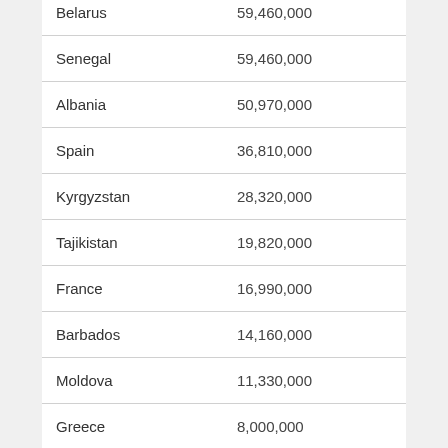| Country | Value |
| --- | --- |
| Belarus | 59,460,000 |
| Senegal | 59,460,000 |
| Albania | 50,970,000 |
| Spain | 36,810,000 |
| Kyrgyzstan | 28,320,000 |
| Tajikistan | 19,820,000 |
| France | 16,990,000 |
| Barbados | 14,160,000 |
| Moldova | 11,330,000 |
| Greece | 8,000,000 |
| Slovenia | 8,000,000 |